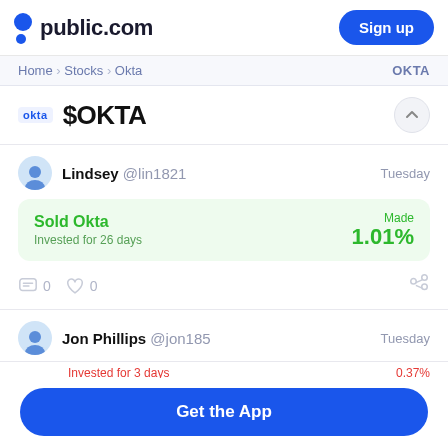public.com  Sign up
Home > Stocks > Okta   OKTA
$OKTA
Lindsey @lin1821   Tuesday
Sold Okta  Invested for 26 days   Made 1.01%
0  0
Jon Phillips @jon185   Tuesday
Invested for 3 days   0.37%
Get the App